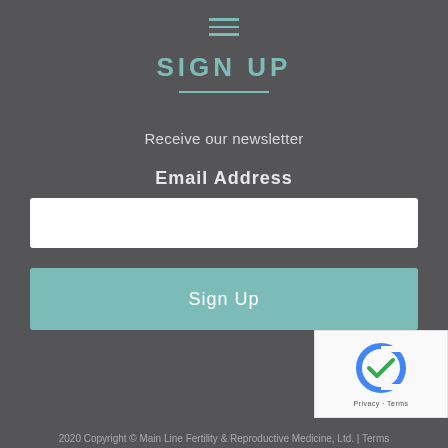[Figure (other): Hamburger menu icon with three horizontal lines in teal color]
SIGN UP
Receive our newsletter
Email Address
[Figure (other): White email address input text field]
[Figure (other): Teal Sign Up button]
[Figure (other): reCAPTCHA badge with teal background square and reCAPTCHA logo, Privacy and Terms links]
2020 Copyright © Main Line Fertility & Reproductive Medicine, Ltd. | Terms